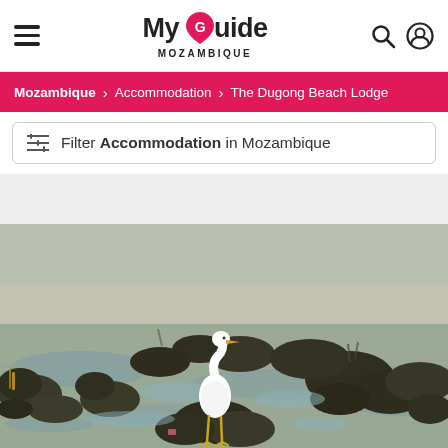My Guide MOZAMBIQUE
Mozambique > Accommodation > The Dugong Beach Lodge
Filter Accommodation in Mozambique
[Figure (photo): A white egret bird standing among dark rocky seaweed mounds in shallow tidal flats at low tide, with sandy and muddy terrain in the background.]